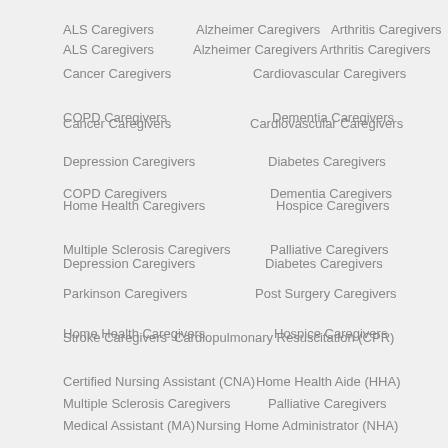ALS Caregivers
Alzheimer Caregivers
Arthritis Caregivers
Cancer Caregivers
Cardiovascular Caregivers
COPD Caregivers
Dementia Caregivers
Depression Caregivers
Diabetes Caregivers
Home Health Caregivers
Hospice Caregivers
Multiple Sclerosis Caregivers
Palliative Caregivers
Parkinson Caregivers
Post Surgery Caregivers
Stroke Caregivers
Cardiopulmonary Resuscitation (CPR)
Certified Nursing Assistant (CNA)
Home Health Aide (HHA)
Medical Assistant (MA)
Nursing Home Administrator (NHA)